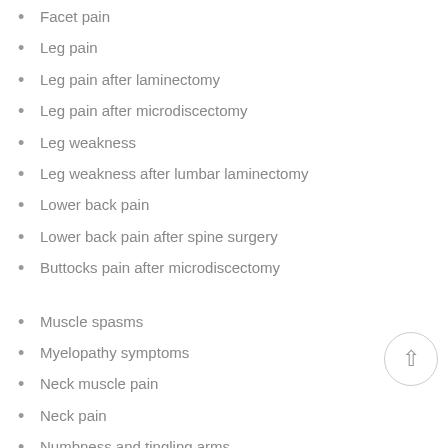Facet pain
Leg pain
Leg pain after laminectomy
Leg pain after microdiscectomy
Leg weakness
Leg weakness after lumbar laminectomy
Lower back pain
Lower back pain after spine surgery
Buttocks pain after microdiscectomy
Muscle spasms
Myelopathy symptoms
Neck muscle pain
Neck pain
Numbness and tingling arms
Numbness and tingling legs
Pain in low back